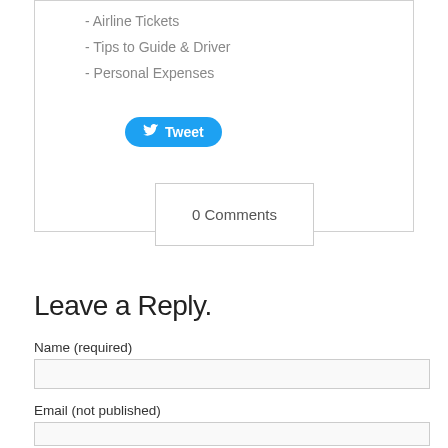- Airline Tickets
- Tips to Guide & Driver
- Personal Expenses
[Figure (other): Twitter Tweet button (blue rounded button with bird icon and 'Tweet' text)]
0 Comments
Leave a Reply.
Name (required)
Email (not published)